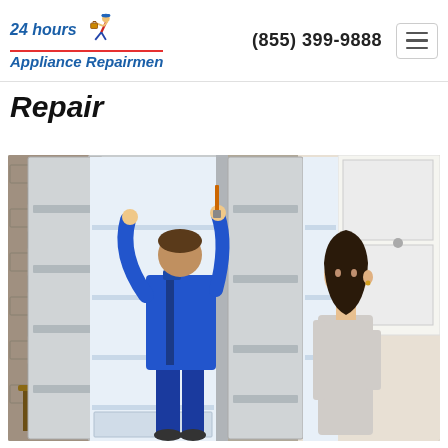24 hours Appliance Repairmen | (855) 399-9888
Repair
[Figure (photo): A refrigerator repair technician in a blue uniform working inside an open side-by-side refrigerator while a woman watches, set in a kitchen with brick wall background.]